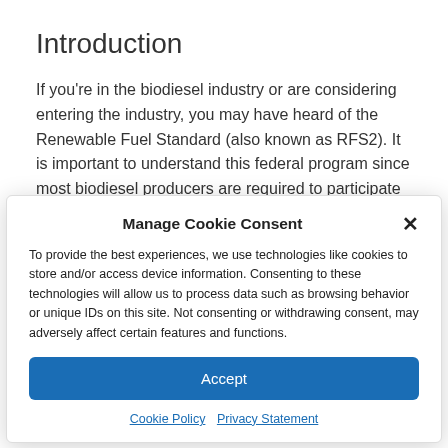Introduction
If you're in the biodiesel industry or are considering entering the industry, you may have heard of the Renewable Fuel Standard (also known as RFS2). It is important to understand this federal program since most biodiesel producers are required to participate in it, except for small or new...
Manage Cookie Consent
To provide the best experiences, we use technologies like cookies to store and/or access device information. Consenting to these technologies will allow us to process data such as browsing behavior or unique IDs on this site. Not consenting or withdrawing consent, may adversely affect certain features and functions.
Accept
Cookie Policy  Privacy Statement